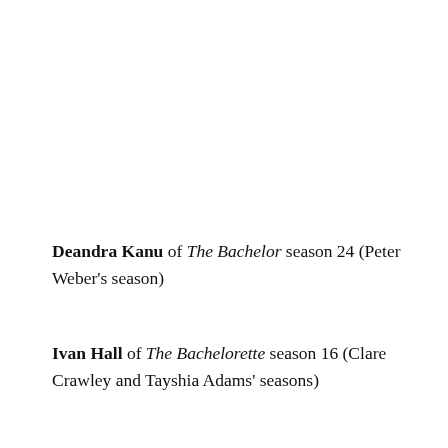Deandra Kanu of The Bachelor season 24 (Peter Weber's season)
Ivan Hall of The Bachelorette season 16 (Clare Crawley and Tayshia Adams' seasons)